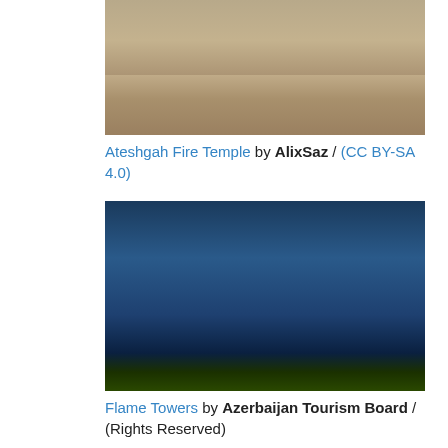[Figure (photo): Ateshgah Fire Temple - sandy stone ancient temple building]
Ateshgah Fire Temple by AlixSaz / (CC BY-SA 4.0)
[Figure (photo): Flame Towers - illuminated modern towers at night in Baku, Azerbaijan]
Flame Towers by Azerbaijan Tourism Board / (Rights Reserved)
[Figure (photo): Baku Ferris Wheel - large Ferris wheel near the waterfront under cloudy sky]
Baku Ferris Wheel by Azerbaijan Tourism Board / (Rights Reserved)
[Figure (photo): Partial image at bottom, dark scene]